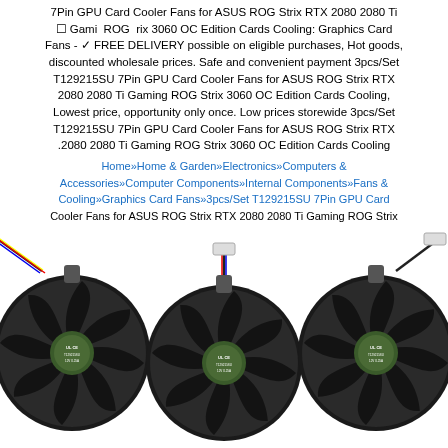7Pin GPU Card Cooler Fans for ASUS ROG Strix RTX 2080 2080 Ti Gaming ROG Strix 3060 OC Edition Cards Cooling: Graphics Card Fans - ✓ FREE DELIVERY possible on eligible purchases, Hot goods, discounted wholesale prices. Safe and convenient payment 3pcs/Set T129215SU 7Pin GPU Card Cooler Fans for ASUS ROG Strix RTX 2080 2080 Ti Gaming ROG Strix 3060 OC Edition Cards Cooling, Lowest price, opportunity only once. Low prices storewide 3pcs/Set T129215SU 7Pin GPU Card Cooler Fans for ASUS ROG Strix RTX .2080 2080 Ti Gaming ROG Strix 3060 OC Edition Cards Cooling
Home»Home & Garden»Electronics»Computers & Accessories»Computer Components»Internal Components»Fans & Cooling»Graphics Card Fans»3pcs/Set T129215SU 7Pin GPU Card Cooler Fans for ASUS ROG Strix RTX 2080 2080 Ti Gaming ROG Strix 3060 OC Edition Cards Cooling
[Figure (photo): Three black GPU cooling fans (T129215SU 7Pin) side by side, each with curved blades and a green center hub with certifications, connected by colored wires to white connectors at top.]